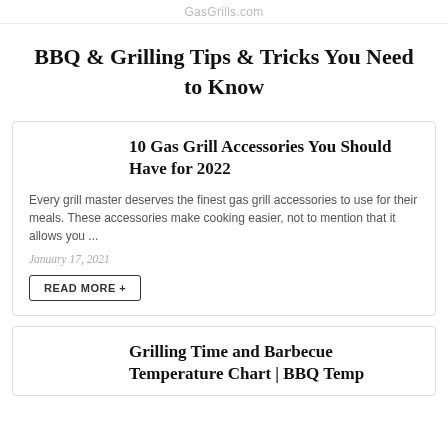GasGrills.com
BBQ & Grilling Tips & Tricks You Need to Know
10 Gas Grill Accessories You Should Have for 2022
Every grill master deserves the finest gas grill accessories to use for their meals. These accessories make cooking easier, not to mention that it allows you ...
January 17, 2021
READ MORE +
Grilling Time and Barbecue Temperature Chart | BBQ Temp